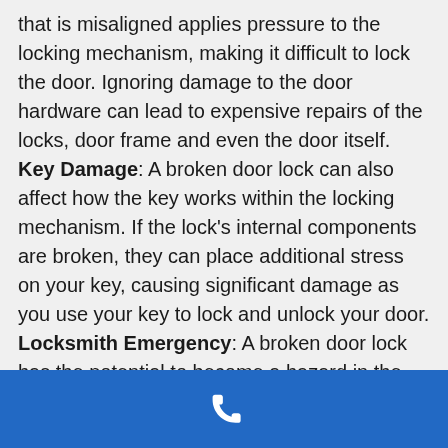that is misaligned applies pressure to the locking mechanism, making it difficult to lock the door. Ignoring damage to the door hardware can lead to expensive repairs of the locks, door frame and even the door itself. Key Damage: A broken door lock can also affect how the key works within the locking mechanism. If the lock's internal components are broken, they can place additional stress on your key, causing significant damage as you use your key to lock and unlock your door. Locksmith Emergency: A broken door lock has the potential to become a hazard in the case of an emergency. Imagine if you are the victim of a fire, and your damaged door lock delays the amount of time you have to exit the premises safely, placing you and your family...
[Figure (other): Blue footer bar with a white phone/call icon in the center]